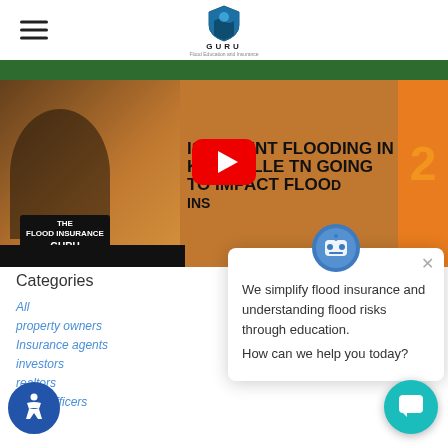THE FLOOD INSURANCE GURU — Flood Education and Insurance
[Figure (screenshot): YouTube video thumbnail showing a man wearing a Flood Insurance Guru shirt on the left, with text overlay: IS RECENT FLOODING IN KNOXVILLE TN GOING TO IMPACT FLOOD INS... and a YouTube play button in the center. Green highway sign strip at the top.]
Categories
All
property owners
Insurance agents
investors
realtors
Loan Officers
[Figure (screenshot): Chat popup overlay with bot icon, close button, and text: We simplify flood insurance and understanding flood risks through education. How can we help you today?]